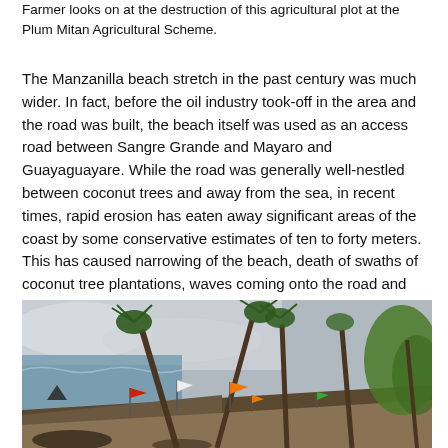Farmer looks on at the destruction of this agricultural plot at the Plum Mitan Agricultural Scheme.
The Manzanilla beach stretch in the past century was much wider. In fact, before the oil industry took-off in the area and the road was built, the beach itself was used as an access road between Sangre Grande and Mayaro and Guayaguayare. While the road was generally well-nestled between coconut trees and away from the sea, in recent times, rapid erosion has eaten away significant areas of the coast by some conservative estimates of ten to forty meters. This has caused narrowing of the beach, death of swaths of coconut tree plantations, waves coming onto the road and damage to coastal properties.
[Figure (photo): Coastal erosion scene showing leaning coconut palm trees on an eroded beach with survey flags (red, white, orange) planted in the sandy/muddy ground. Ocean visible on the left, green vegetation on the right.]